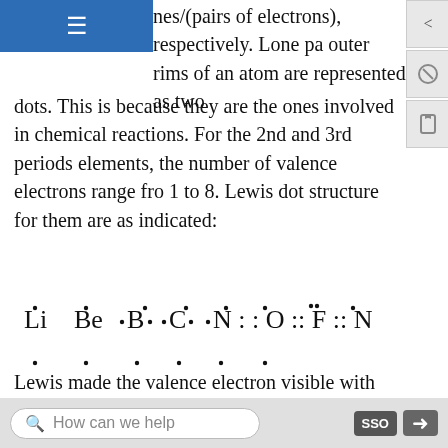nes/(pairs of electrons), respectively. Lone pairs on the outer rims of an atom are represented as two dots. This is because they are the ones involved in chemical reactions. For the 2nd and 3rd periods elements, the number of valence electrons range from 1 to 8. Lewis dot structure for them are as indicated:
Lewis made the valence electron visible with dots. Other examples include the following molecules:
Note
Lewis structure does NOT attempt to explain the geometry of molecules, how the bonds form, or